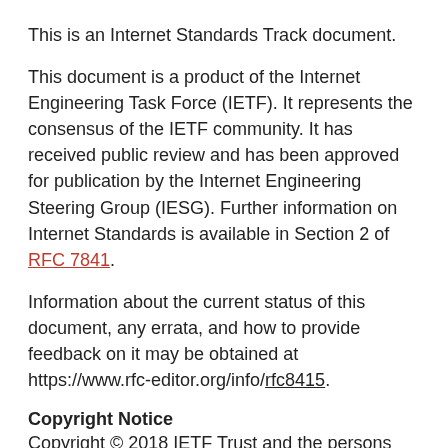This is an Internet Standards Track document.
This document is a product of the Internet Engineering Task Force (IETF). It represents the consensus of the IETF community. It has received public review and has been approved for publication by the Internet Engineering Steering Group (IESG). Further information on Internet Standards is available in Section 2 of RFC 7841.
Information about the current status of this document, any errata, and how to provide feedback on it may be obtained at https://www.rfc-editor.org/info/rfc8415.
Copyright Notice
Copyright © 2018 IETF Trust and the persons identified as the document authors. All rights reserved.
This document is subject to BCP 78 and the IETF Trust's Legal Provisions Relating to IETF Documents (https://trustee.ietf.org/license-info) in effect on the date of